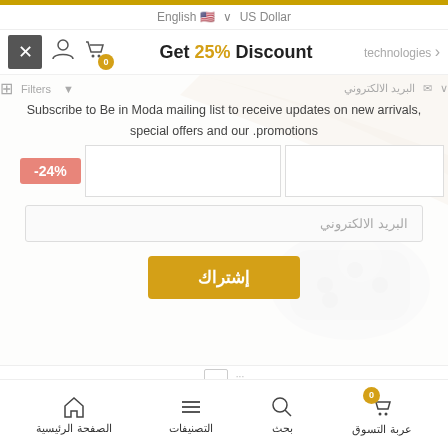English 🇺🇸 ∨  US Dollar
Get 25% Discount
technologies >
Subscribe to Be in Moda mailing list to receive updates on new arrivals, special offers and our promotions.
البريد الالكتروني
إشتراك
-24%
الصفحة الرئيسية  التصنيفات  بحث  عربة التسوق